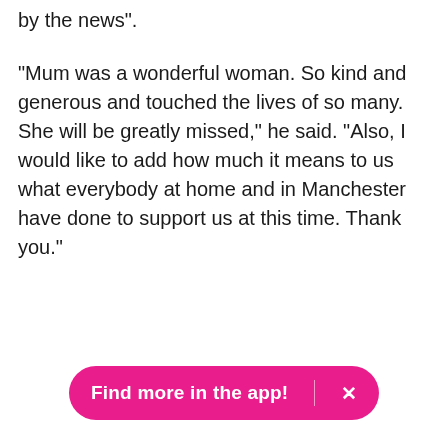by the news".
"Mum was a wonderful woman. So kind and generous and touched the lives of so many. She will be greatly missed," he said. "Also, I would like to add how much it means to us what everybody at home and in Manchester have done to support us at this time. Thank you."
Find more in the app! ×